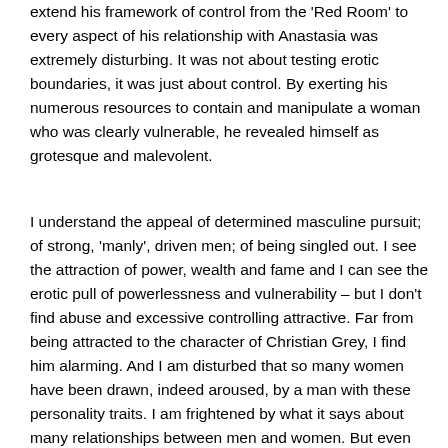extend his framework of control from the 'Red Room' to every aspect of his relationship with Anastasia was extremely disturbing. It was not about testing erotic boundaries, it was just about control. By exerting his numerous resources to contain and manipulate a woman who was clearly vulnerable, he revealed himself as grotesque and malevolent.
I understand the appeal of determined masculine pursuit; of strong, 'manly', driven men; of being singled out. I see the attraction of power, wealth and fame and I can see the erotic pull of powerlessness and vulnerability – but I don't find abuse and excessive controlling attractive. Far from being attracted to the character of Christian Grey, I find him alarming. And I am disturbed that so many women have been drawn, indeed aroused, by a man with these personality traits. I am frightened by what it says about many relationships between men and women. But even more so, I am distressed about what it